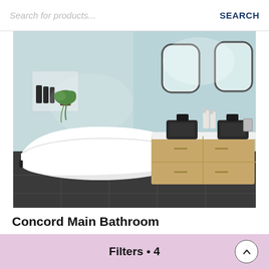Search for products...  SEARCH
[Figure (photo): Modern bathroom with a white freestanding bathtub on the left, a floating wood vanity with two dark rectangular sinks on the right, two round-cornered mirrors above the sinks, light blue-gray walls, and dark tile flooring. Shelving niche with plants and toiletries on the left wall.]
Concord Main Bathroom
Giuselle Bathrooms
Domi Interiors
Filters • 4